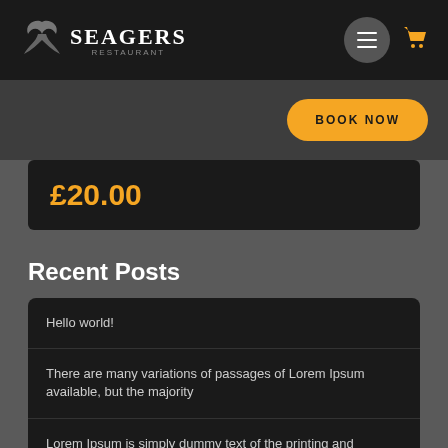Seagers Restaurant - Navigation bar with logo, menu button, and cart icon
BOOK NOW
£20.00
Recent Posts
Hello world!
There are many variations of passages of Lorem Ipsum available, but the majority
Lorem Ipsum is simply dummy text of the printing and